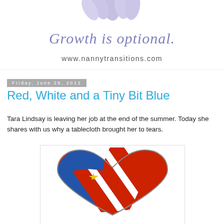[Figure (illustration): Decorative purple/lavender feather or flower illustration at top of page header]
Growth is optional.
www.nannytransitions.com
Friday, June 29, 2012
Red, White and a Tiny Bit Blue
Tara Lindsay is leaving her job at the end of the summer. Today she shares with us why a tablecloth brought her to tears.
[Figure (illustration): Heart shape decorated with American flag colors - red and white stripes, blue with yellow star]